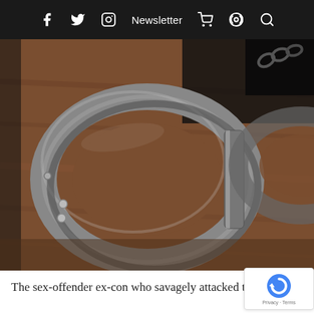f  [twitter]  [instagram]  Newsletter  [cart]  [podcast]  [search]
[Figure (photo): Close-up photograph of a pair of steel handcuffs resting on a brown wooden surface, macro focus on the circular loop of one cuff.]
The sex-offender ex-con who savagely attacked two w...